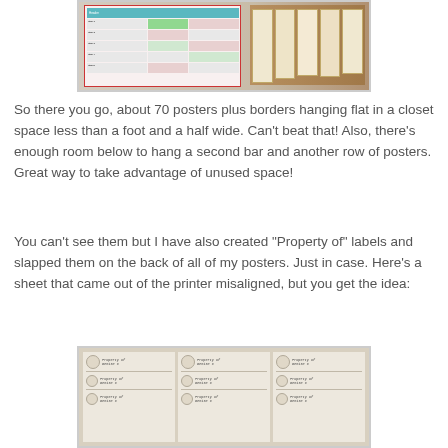[Figure (photo): Photo of a poster organization system showing a pink-bordered table/chart on the left and hanging file folders on a wooden bar on the right, inside a closet.]
So there you go, about 70 posters plus borders hanging flat in a closet space less than a foot and a half wide. Can't beat that! Also, there's enough room below to hang a second bar and another row of posters. Great way to take advantage of unused space!
You can't see them but I have also created "Property of" labels and slapped them on the back of all of my posters. Just in case. Here's a sheet that came out of the printer misaligned, but you get the idea:
[Figure (photo): Photo of a printed sheet of "Property of Denise C" labels featuring Snoopy cartoon images, with misaligned printing showing multiple columns of labels.]